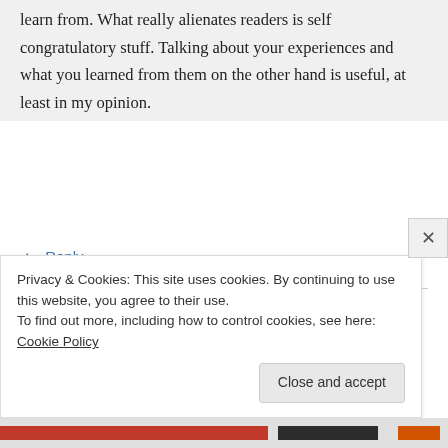learn from. What really alienates readers is self congratulatory stuff. Talking about your experiences and what you learned from them on the other hand is useful, at least in my opinion.
↪ Reply
zombiecodekill on April 27, 2016 at 6:22 pm
Privacy & Cookies: This site uses cookies. By continuing to use this website, you agree to their use.
To find out more, including how to control cookies, see here: Cookie Policy
Close and accept